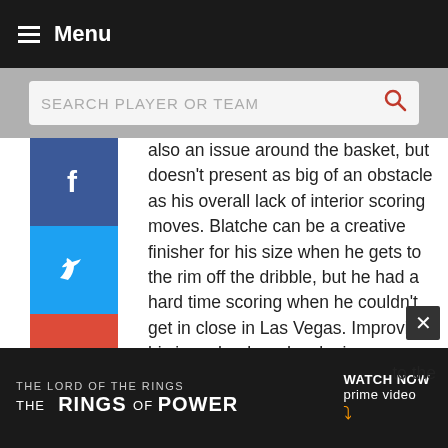Menu
SEARCH PLAYER OR TEAM
also an issue around the basket, but doesn't present as big of an obstacle as his overall lack of interior scoring moves. Blatche can be a creative finisher for his size when he gets to the rim off the dribble, but he had a hard time scoring when he couldn't get in close in Las Vegas. Improving his jump hook or developing some type of go-to-move down low would be a definite step in the right direction for Blatche, who is often the beneficiary of dump passes from driving teammates and collects quite a few offensive rebounds. Over the course of the week, he rushed some contested 6-footers when he didn't see a lane to the rim, tried to
[Figure (screenshot): The Lord of the Rings: The Rings of Power advertisement banner for Amazon Prime Video]
to the d on